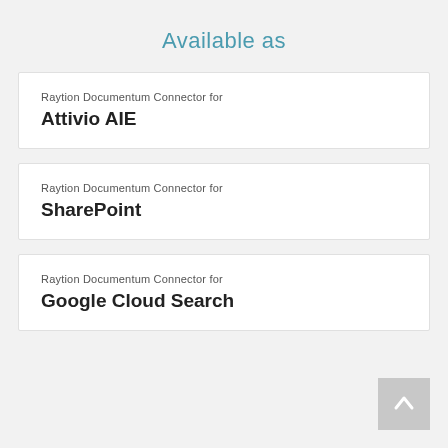Available as
Raytion Documentum Connector for
Attivio AIE
Raytion Documentum Connector for
SharePoint
Raytion Documentum Connector for
Google Cloud Search